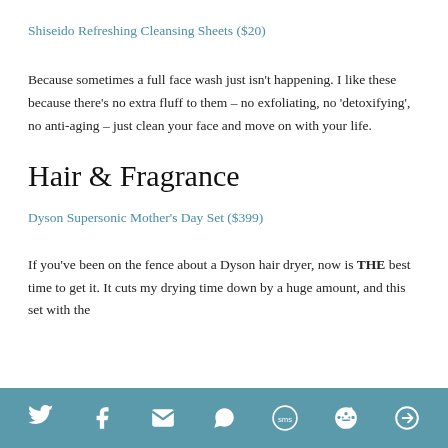Shiseido Refreshing Cleansing Sheets ($20)
Because sometimes a full face wash just isn't happening. I like these because there's no extra fluff to them – no exfoliating, no 'detoxifying', no anti-aging – just clean your face and move on with your life.
Hair & Fragrance
Dyson Supersonic Mother's Day Set ($399)
If you've been on the fence about a Dyson hair dryer, now is THE best time to get it. It cuts my drying time down by a huge amount, and this set with the
[Figure (infographic): Social share bar with icons: Twitter, Facebook, Email, WhatsApp, SMS, Reddit, and another share icon on a teal/blue-grey background]